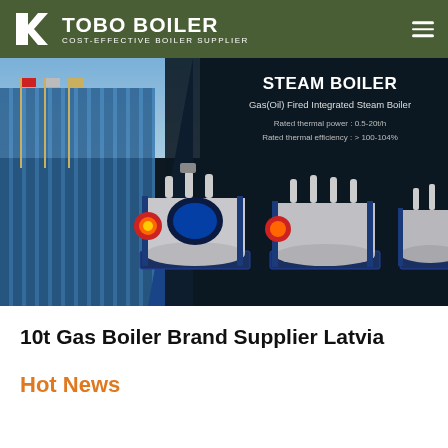TOBO BOILER — COST-EFFECTIVE BOILER SUPPLIER
[Figure (photo): Banner showing steam boiler products on dark background with building facade on left. Text overlay: STEAM BOILER, Gas(Oil) Fired Integrated Steam Boiler, Rated thermal power: 0.5-20t/h, Rated thermal efficiency: > 100-104%]
10t Gas Boiler Brand Supplier Latvia
Hot News